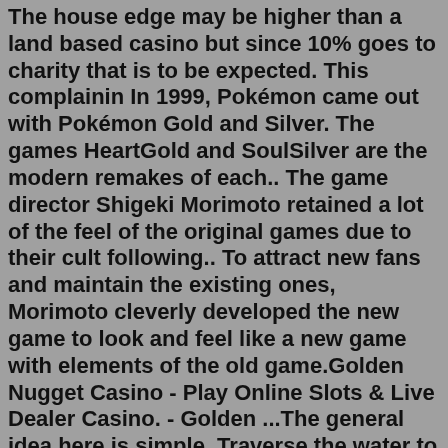The house edge may be higher than a land based casino but since 10% goes to charity that is to be expected. This complainin In 1999, Pokémon came out with Pokémon Gold and Silver. The games HeartGold and SoulSilver are the modern remakes of each.. The game director Shigeki Morimoto retained a lot of the feel of the original games due to their cult following.. To attract new fans and maintain the existing ones, Morimoto cleverly developed the new game to look and feel like a new game with elements of the old game.Golden Nugget Casino - Play Online Slots & Live Dealer Casino. - Golden ...The general idea here is simple. Traverse the water to the south of your current position with Surf. Use Whirlpool to pass by the Whirlpool obstacle you encounter. And then enter the structure at ...Jun 23, 2022 · Boston-Based Golden Hearts Games, "The World's First Charity Casino," Surpasses $10M In Donations, Processes Over $6M in 2022 Alone as Over 50,000 Nonprofits Have Now Received Funding From the ... A Golden Pumpkin is used in the spool of the Sewing